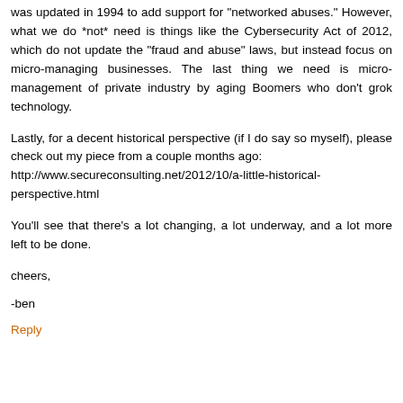was updated in 1994 to add support for "networked abuses." However, what we do *not* need is things like the Cybersecurity Act of 2012, which do not update the "fraud and abuse" laws, but instead focus on micro-managing businesses. The last thing we need is micro-management of private industry by aging Boomers who don't grok technology.
Lastly, for a decent historical perspective (if I do say so myself), please check out my piece from a couple months ago: http://www.secureconsulting.net/2012/10/a-little-historical-perspective.html
You'll see that there's a lot changing, a lot underway, and a lot more left to be done.
cheers,
-ben
Reply